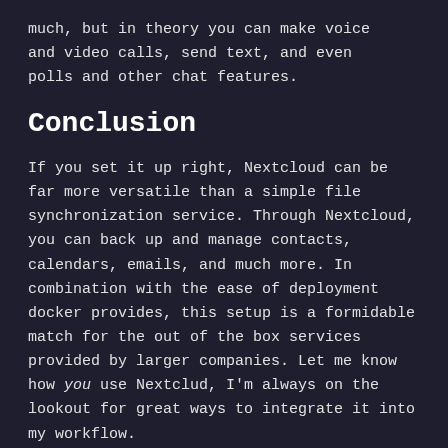much, but in theory you can make voice and video calls, send text, and even polls and other chat features.
Conclusion
If you set it up right, Nextcloud can be far more versatile than a simple file synchronization service. Through Nextcloud, you can back up and manage contacts, calendars, emails, and much more. In combination with the ease of deployment docker provides, this setup is a formidable match for the out of the box services provided by larger companies. Let me know how you use Nextclud, I’m always on the lookout for great ways to integrate it into my workflow.